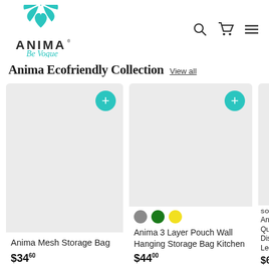[Figure (logo): Anima Be Vogue logo with teal/turquoise leaf design above the brand name]
Anima Ecofriendly Collection  View all
[Figure (photo): Product card for Anima Mesh Storage Bag — light gray background placeholder image]
Anima Mesh Storage Bag
$34.60
[Figure (photo): Product card for Anima 3 Layer Pouch Wall Hanging Storage Bag Kitchen — light gray background placeholder image with gray, green, yellow color swatches]
Anima 3 Layer Pouch Wall Hanging Storage Bag Kitchen
$44.00
[Figure (photo): Partial product card — SOLD OUT badge visible, product name partially visible: Anima Quality Display Ledge...]
SOLD O...
Anima Quality Display Ledge
$68.00